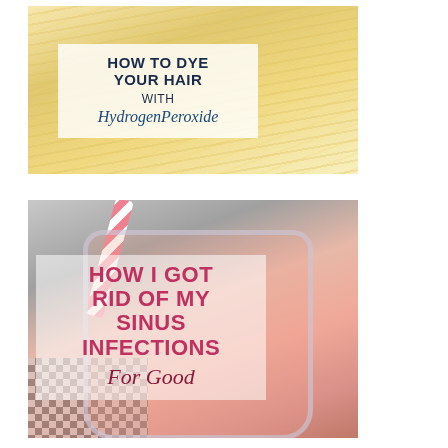[Figure (photo): Blonde hair close-up with overlay text: HOW TO DYE YOUR HAIR with HydrogenPeroxide]
[Figure (photo): Pink smoothie in mason jar with pink-and-white striped straw and checkered cloth, overlay text: HOW I GOT RID OF MY SINUS INFECTIONS For Good]